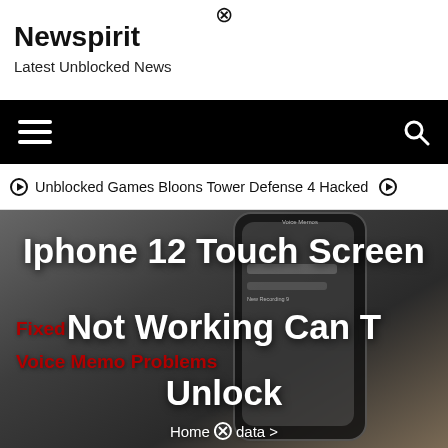⊗
Newspirit
Latest Unblocked News
[Figure (screenshot): Black navigation bar with hamburger menu on left and search icon on right]
⊙ Unblocked Games Bloons Tower Defense 4 Hacked ⊙
[Figure (photo): Hero image showing an iPhone 12 with Voice Memo app open on a dark background, overlaid with article title text]
Iphone 12 Touch Screen Not Working Can T Unlock
Fixed Voice Memo Problems
Home ⊗ data >